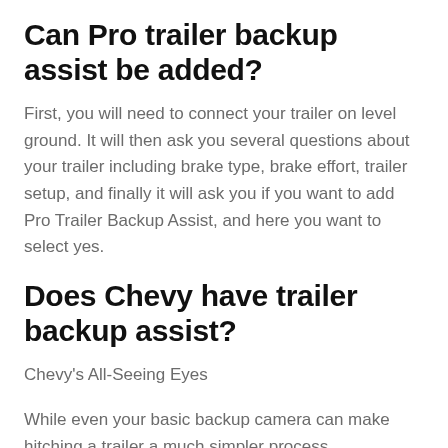Can Pro trailer backup assist be added?
First, you will need to connect your trailer on level ground. It will then ask you several questions about your trailer including brake type, brake effort, trailer setup, and finally it will ask you if you want to add Pro Trailer Backup Assist, and here you want to select yes.
Does Chevy have trailer backup assist?
Chevy's All-Seeing Eyes
While even your basic backup camera can make hitching a trailer a much simpler process,